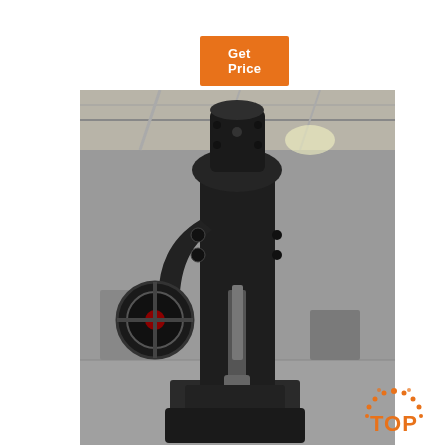Get Price
[Figure (photo): Large industrial power hammer / forging press machine photographed in a factory/warehouse setting. The machine is black and has a large flywheel on the side. Industrial background with steel parts visible.]
[Figure (infographic): Customer service overlay box with '24/7 Online' header, photo of a smiling woman with headset, 'Click here for free chat!' text, and an orange QUOTATION button. Dark blue-gray background.]
[Figure (logo): Orange 'TOP' badge with dotted arc above the text]